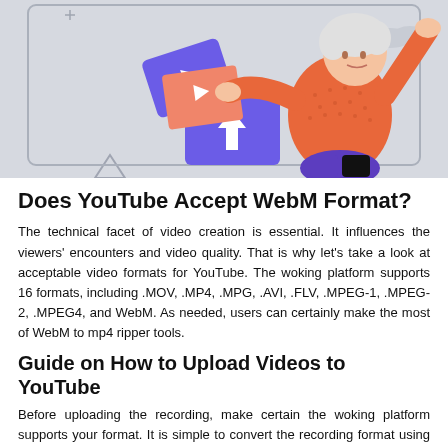[Figure (illustration): Illustration of a woman with white hair in a red/orange dotted sweater holding video/upload icons on a gray background. Purple upload icon with arrow and video play icons are visible.]
Does YouTube Accept WebM Format?
The technical facet of video creation is essential. It influences the viewers' encounters and video quality. That is why let's take a look at acceptable video formats for YouTube. The woking platform supports 16 formats, including .MOV, .MP4, .MPG, .AVI, .FLV, .MPEG-1, .MPEG-2, .MPEG4, and WebM. As needed, users can certainly make the most of WebM to mp4 ripper tools.
Guide on How to Upload Videos to YouTube
Before uploading the recording, make certain the woking platform supports your format. It is simple to convert the recording format using special programs for fast and quality